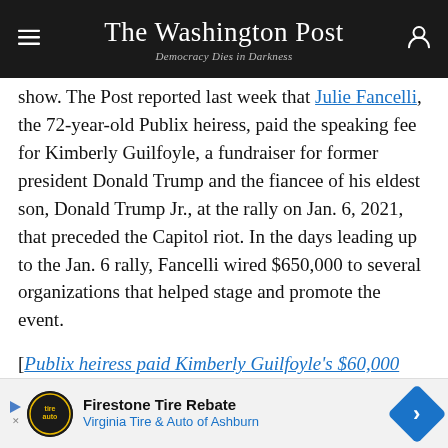The Washington Post — Democracy Dies in Darkness
show. The Post reported last week that Julie Fancelli, the 72-year-old Publix heiress, paid the speaking fee for Kimberly Guilfoyle, a fundraiser for former president Donald Trump and the fiancee of his eldest son, Donald Trump Jr., at the rally on Jan. 6, 2021, that preceded the Capitol riot. In the days leading up to the Jan. 6 rally, Fancelli wired $650,000 to several organizations that helped stage and promote the event.
[Publix heiress paid Kimberly Guilfoyle's $60,000 speaking fee on Jan. 6]
Publix has also sought to dismiss a wrongful-death
[Figure (other): Advertisement banner for Firestone Tire Rebate — Virginia Tire & Auto of Ashburn]